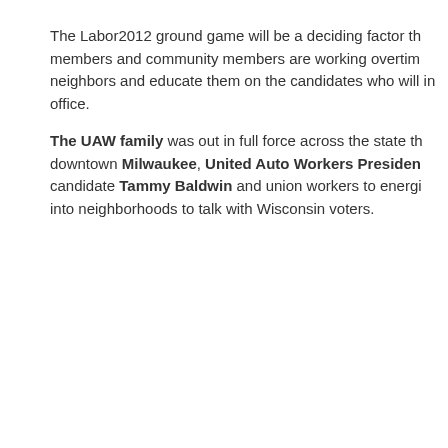The Labor2012 ground game will be a deciding factor this members and community members are working overtime neighbors and educate them on the candidates who will in office.
The UAW family was out in full force across the state th downtown Milwaukee, United Auto Workers President candidate Tammy Baldwin and union workers to energi into neighborhoods to talk with Wisconsin voters.
Posted at 12:16 PM in 2010 Elections, Affiliate Updates | Permalink | Comments (81)
[Figure (other): Facebook Like button showing 0 likes]
Volunteers Hit the Streets Ac for Barack Obama & Tammy
[Figure (photo): Outdoor photo showing bare trees against a blue sky, street scene]